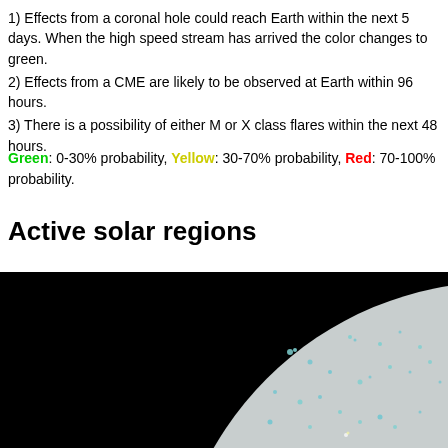1) Effects from a coronal hole could reach Earth within the next 5 days. When the high speed stream has arrived the color changes to green.
2) Effects from a CME are likely to be observed at Earth within 96 hours.
3) There is a possibility of either M or X class flares within the next 48 hours.
Green: 0-30% probability, Yellow: 30-70% probability, Red: 70-100% probability.
Active solar regions
[Figure (photo): Close-up image of the Sun showing the solar disk with active regions marked in cyan/blue against a light grey solar surface, with the surrounding space in black. The image is cropped showing the upper-left quadrant with the curved solar limb visible.]